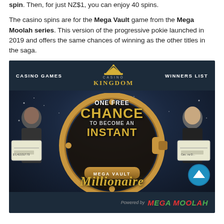spin. Then, for just NZ$1, you can enjoy 40 spins.
The casino spins are for the Mega Vault game from the Mega Moolah series. This version of the progressive pokie launched in 2019 and offers the same chances of winning as the other titles in the saga.
[Figure (illustration): Casino Kingdom promotional banner showing a gold vault circle with text 'ONE FREE CHANCE TO BECOME AN INSTANT MEGA VAULT MILLIONAIRE', two people holding large cheques on either side, with Casino Kingdom logo at top, and Mega Moolah branding at bottom.]